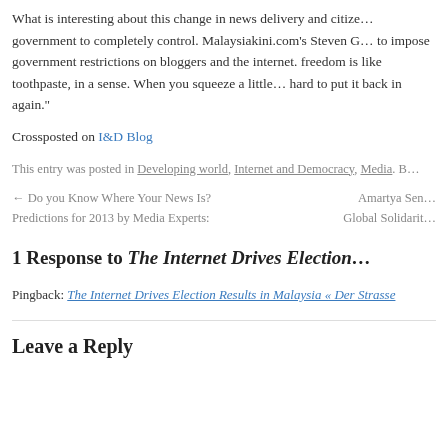What is interesting about this change in news delivery and citizen journalism is that it is increasingly difficult for government to completely control. Malaysiakini.com's Steven Gan commented on the difficulty of the government to impose government restrictions on bloggers and the internet. He said: "Internet freedom is like toothpaste, in a sense. When you squeeze a little out it's very hard to put it back in again."
Crossposted on I&D Blog
This entry was posted in Developing world, Internet and Democracy, Media.
← Do you Know Where Your News Is? Predictions for 2013 by Media Experts:
Amartya Sen... Global Solidarity...
1 Response to The Internet Drives Election...
Pingback: The Internet Drives Election Results in Malaysia « Der Strasse
Leave a Reply